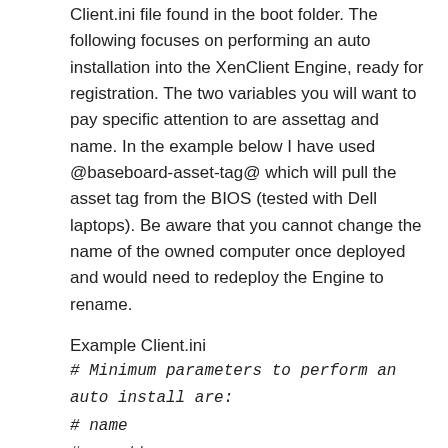Client.ini file found in the boot folder. The following focuses on performing an auto installation into the XenClient Engine, ready for registration. The two variables you will want to pay specific attention to are assettag and name. In the example below I have used @baseboard-asset-tag@ which will pull the asset tag from the BIOS (tested with Dell laptops). Be aware that you cannot change the name of the owned computer once deployed and would need to redeploy the Engine to rename.
Example Client.ini
# Minimum parameters to perform an auto install are:
# name
# assettag
# encrypt
# keyboard
[GLOBAL]
action=install
assettag=@baseboard-asset-tag@